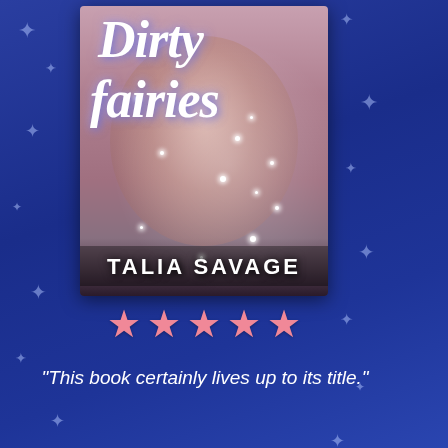[Figure (illustration): Book cover for 'Dirty Fairies' by Talia Savage, showing a male torso with sparkle/glitter effects and the title in white italic script font over a pink/brown background]
[Figure (infographic): Five pink star rating icons indicating a 5-star review]
“This book certainly lives up to its title.”